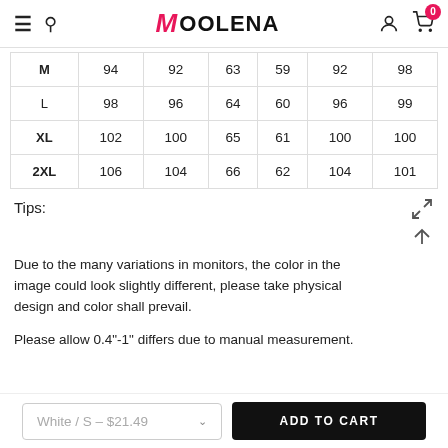Moolena
| M | 94 | 92 | 63 | 59 | 92 | 98 |
| L | 98 | 96 | 64 | 60 | 96 | 99 |
| XL | 102 | 100 | 65 | 61 | 100 | 100 |
| 2XL | 106 | 104 | 66 | 62 | 104 | 101 |
Tips:
Due to the many variations in monitors, the color in the image could look slightly different, please take physical design and color shall prevail.
Please allow 0.4"-1" differs due to manual measurement.